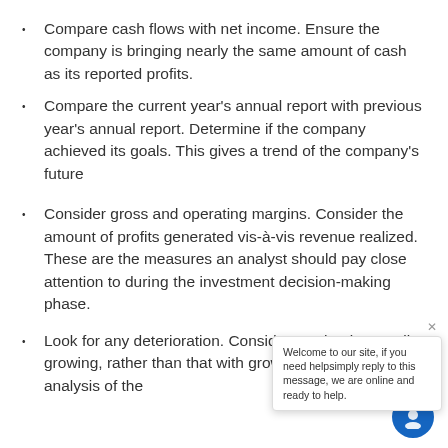Compare cash flows with net income. Ensure the company is bringing nearly the same amount of cash as its reported profits.
Compare the current year's annual report with previous year's annual report. Determine if the company achieved its goals. This gives a trend of the company's future
Consider gross and operating margins. Consider the amount of profits generated vis-à-vis revenue realized. These are the measures an analyst should pay close attention to during the investment decision-making phase.
Look for any deterioration. Consider a company that is actually growing, rather than that with growth prospects. A basic analysis of the company's fundamentals will give a clear picture.